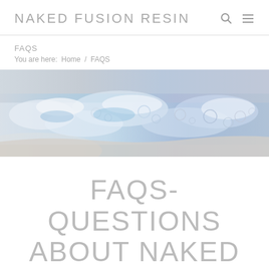NAKED FUSION RESIN
FAQS
You are here:  Home  /  FAQS
[Figure (photo): Aerial view of ocean waves with blue and white foam patterns on a light grey sandy shore, serving as a decorative banner image.]
FAQS- QUESTIONS ABOUT NAKED FUSION THE